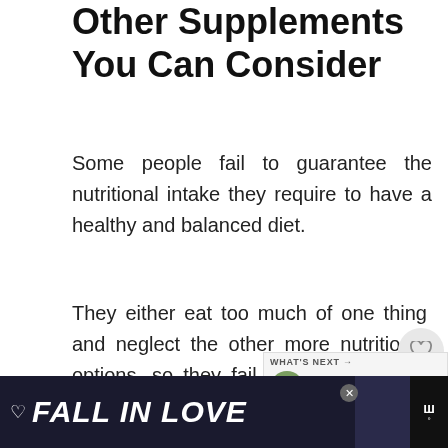Other Supplements You Can Consider
Some people fail to guarantee the nutritional intake they require to have a healthy and balanced diet.
They either eat too much of one thing and neglect the other more nutritional options, so they fail to meet the daily requirements for each nutrient. To keep this from happening, I've created a list of supplements you may want to consider in case the above happens.
[Figure (screenshot): Advertisement banner at the bottom: dark navy background with white bold italic text 'FALL IN LOVE', a heart icon, a close button, a person with headphones photo, and a logo icon on the right.]